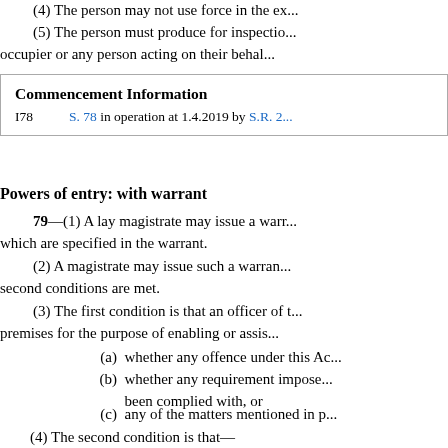(4) The person may not use force in the ex...
(5) The person must produce for inspection ... occupier or any person acting on their behalf...
| Commencement Information |
| --- |
| I78 | S. 78 in operation at 1.4.2019 by S.R. 2... |
Powers of entry: with warrant
79—(1) A lay magistrate may issue a warrant ... which are specified in the warrant.
(2) A magistrate may issue such a warrant ... second conditions are met.
(3) The first condition is that an officer of the ... premises for the purpose of enabling or assisting...
(a) whether any offence under this Act...
(b) whether any requirement imposed ... been complied with, or
(c) any of the matters mentioned in p...
(4) The second condition is that—
(a) applying to the owner or occupie...